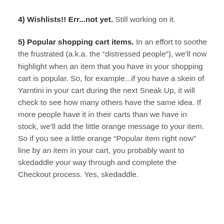4) Wishlists!! Err...not yet. Still working on it.
5) Popular shopping cart items. In an effort to soothe the frustrated (a.k.a. the “distressed people”), we’ll now highlight when an item that you have in your shopping cart is popular. So, for example...if you have a skein of Yarntini in your cart during the next Sneak Up, it will check to see how many others have the same idea. If more people have it in their carts than we have in stock, we’ll add the little orange message to your item. So if you see a little orange “Popular item right now” line by an item in your cart, you probably want to skedaddle your way through and complete the Checkout process. Yes, skedaddle.